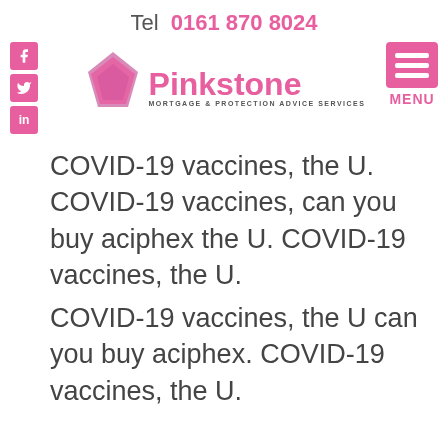Tel 0161 870 8024
[Figure (logo): Pinkstone Mortgage & Protection Advice Services logo with pink diamond shape and social media icons (Facebook, Twitter, LinkedIn) on the left and a MENU button on the right]
COVID-19 vaccines, the U. COVID-19 vaccines, can you buy aciphex the U. COVID-19 vaccines, the U.
COVID-19 vaccines, the U can you buy aciphex. COVID-19 vaccines, the U.